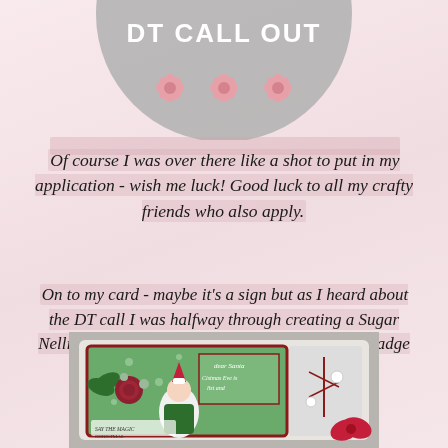[Figure (illustration): Gray circular badge with 'DT CALL OUT' text and three flower/daisy decorations in pink]
Of course I was over there like a shot to put in my application - wish me luck! Good luck to all my crafty friends who also apply.
On to my card - maybe it's a sign but as I heard about the DT call I was halfway through creating a Sugar Nellie card so decided to blog this card with the badge for the DT call.
[Figure (photo): Christmas card craft project featuring a green patterned card base with red border, holly and flower embellishments, an elf character, 'dear Santa' text panel, and red bow decoration]